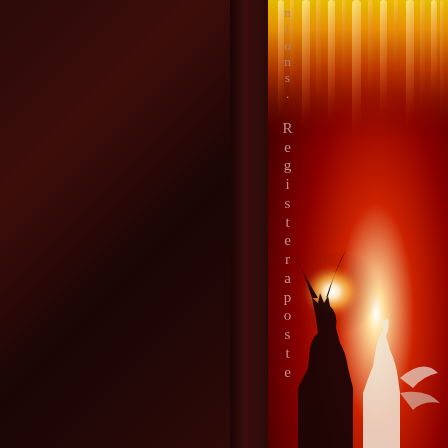[Figure (illustration): Book cover or decorative page spread. Left two-thirds shows a dark maroon/brown gradient background. A narrow vertical spine divides the image. The right portion features a dramatic scene: orange and yellow flames or aurora at the top, a deep red gradient background in the middle, a bright white light glow in the lower center, and at the bottom a dark silhouetted demonic figure with horns facing a white angelic figure. Vertical text reading 'nions. Registeraposte' runs along the spine dividing the two sections.]